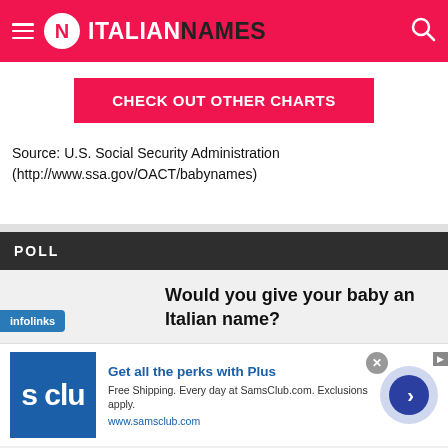ITALIANNAMES
CHECK OUT OTHER CHARTS
Source: U.S. Social Security Administration (http://www.ssa.gov/OACT/babynames)
POLL
Would you give your baby an Italian name?
[Figure (infographic): Advertisement: Get all the perks with Plus. Free Shipping. Every day at SamsClub.com. Exclusions apply. www.samsclub.com]